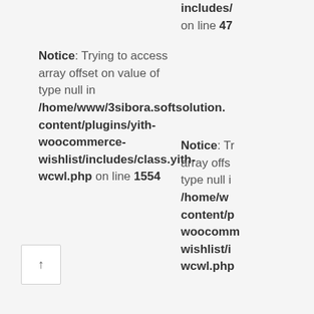includes/ on line 47
Notice: Trying to access array offset on value of type null in /home/www/3sibora.softsolution.content/plugins/yith-woocommerce-wishlist/includes/class.yith-wcwl.php on line 1554
Notice: Trying to access array offset on value of type null in /home/www/content/plugins/yith-woocommerce-wishlist/includes/wcwl.php